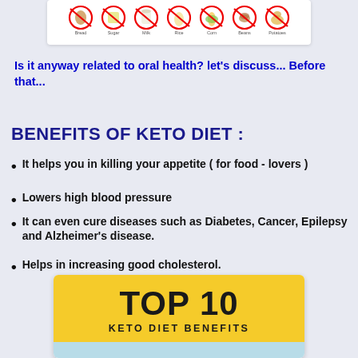[Figure (illustration): Row of food icons (bread, sugar, milk, rice, corn, beans, potatoes) each in a red circle with a diagonal cross/strikethrough, indicating foods not allowed on keto diet. Labels beneath each icon.]
Is it anyway related to oral health? let's discuss... Before that...
BENEFITS OF KETO DIET :
It helps you in killing your appetite ( for food - lovers )
Lowers high blood pressure
It can even cure diseases such as Diabetes, Cancer, Epilepsy and Alzheimer's disease.
Helps in increasing good cholesterol.
[Figure (infographic): Infographic card with yellow top band reading 'TOP 10' in large bold text and 'KETO DIET BENEFITS' below it, and a light blue band at the bottom.]